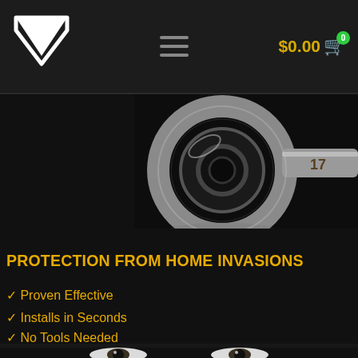G logo | hamburger menu | $0.000 cart with badge 0
[Figure (photo): Close-up macro photo of a silver wrench head (size 17) against a dark/black background with reflection on a dark surface]
PROTECTION FROM HOME INVASIONS
✓ Proven Effective
✓ Installs in Seconds
✓ No Tools Needed
[Figure (photo): Partial face showing eyes looking upward in a dark, dramatic lighting, visible at bottom of page]